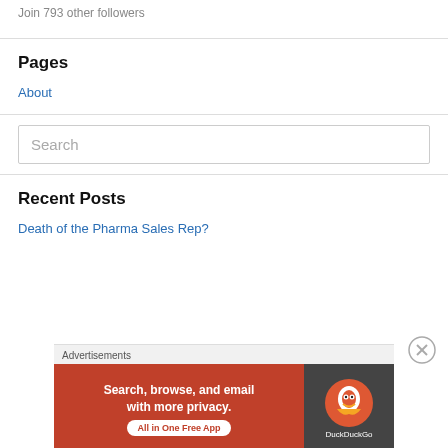Join 793 other followers
Pages
About
Search
Recent Posts
Death of the Pharma Sales Rep?
Advertisements
[Figure (screenshot): DuckDuckGo advertisement banner with orange background reading 'Search, browse, and email with more privacy. All in One Free App' and DuckDuckGo logo on dark right panel]